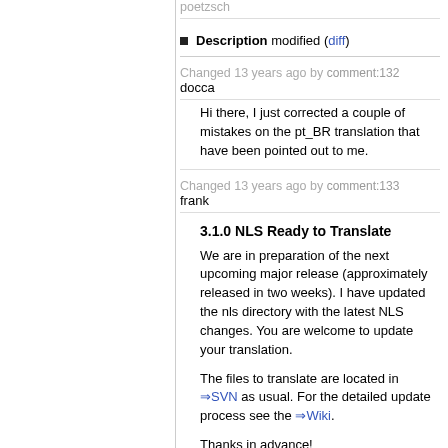poetzsch
Description modified (diff)
Changed 13 years ago by comment:132 docca
Hi there, I just corrected a couple of mistakes on the pt_BR translation that have been pointed out to me.
Changed 13 years ago by comment:133 frank
3.1.0 NLS Ready to Translate
We are in preparation of the next upcoming major release (approximately released in two weeks). I have updated the nls directory with the latest NLS changes. You are welcome to update your translation.
The files to translate are located in ⇒SVN as usual. For the detailed update process see the ⇒Wiki.
Thanks in advance!
Changed 13 years ago by comment:134